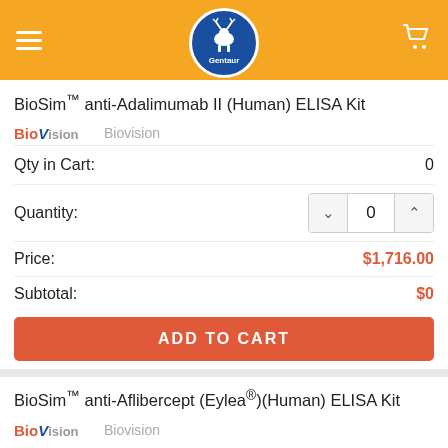Gentaur — navigation header with hamburger menu and cart
BioSim™ anti-Adalimumab II (Human) ELISA Kit
Biovision
Qty in Cart: 0
Quantity: 0
Price: $1,716.00
Subtotal: $0
ADD TO CART
BioSim™ anti-Aflibercept (Eylea®)(Human) ELISA Kit
Biovision